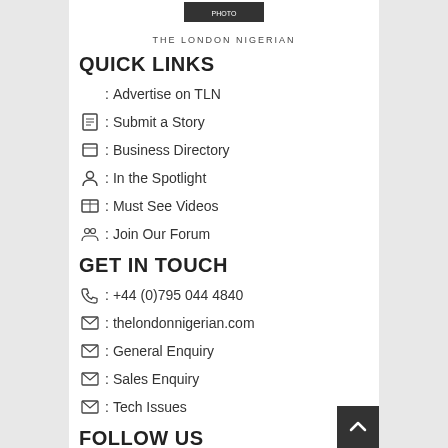[Figure (logo): The London Nigerian logo with photo and text 'THE LONDON NIGERIAN']
QUICK LINKS
: Advertise on TLN
: Submit a Story
: Business Directory
: In the Spotlight
: Must See Videos
: Join Our Forum
GET IN TOUCH
: +44 (0)795 044 4840
: thelondonnigerian.com
: General Enquiry
: Sales Enquiry
: Tech Issues
FOLLOW US
[Figure (illustration): Row of 7 social media icon circles with broken image icons]
NEWSLETTER
Be the first to get news, promotions, special offers and updates